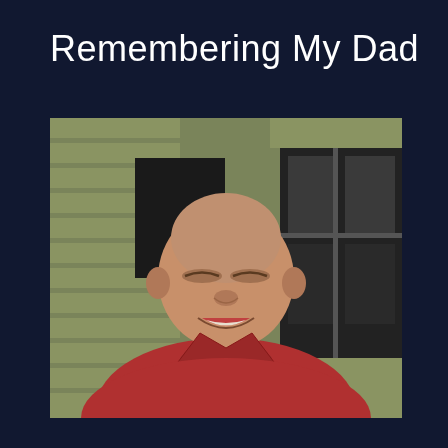Remembering My Dad
[Figure (photo): Portrait photo of an older bald man smiling, wearing a red polo shirt, standing in front of a house with light green/yellow siding and a window visible in the background.]